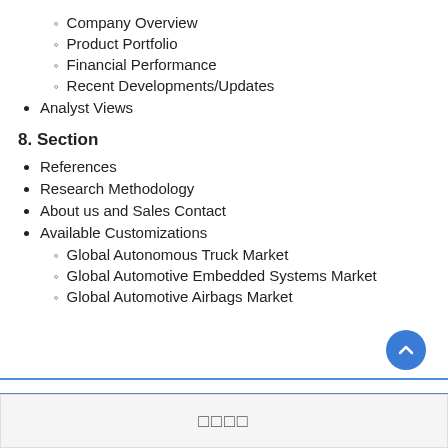Company Overview
Product Portfolio
Financial Performance
Recent Developments/Updates
Analyst Views
8. Section
References
Research Methodology
About us and Sales Contact
Available Customizations
Global Autonomous Truck Market
Global Automotive Embedded Systems Market
Global Automotive Airbags Market
□□□□